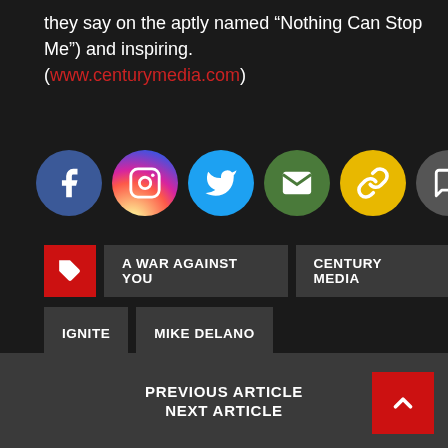they say on the aptly named “Nothing Can Stop Me”) and inspiring. (www.centurymedia.com)
[Figure (infographic): Row of seven social media share icon circles: Facebook (blue), Instagram (gradient), Twitter (light blue), Email (green), Link (yellow), Comment (dark grey), Share (orange)]
A WAR AGAINST YOU
CENTURY MEDIA
IGNITE
MIKE DELANO
PREVIOUS ARTICLE
NEXT ARTICLE